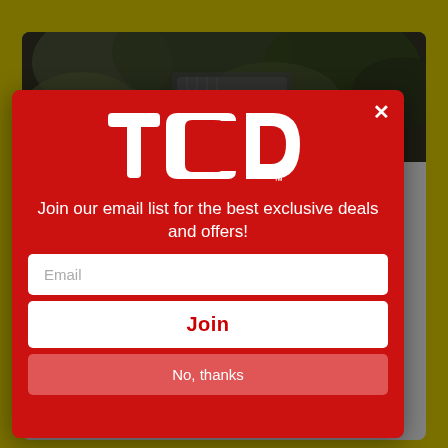[Figure (photo): Background image showing outdoors scene with dark foliage, partially visible behind a modal popup]
[Figure (screenshot): Email signup modal popup with red background. Contains TCD logo, text 'Join our email list for the best exclusive deals and offers!', an email input field, a Join button, and a No, thanks button.]
Join our email list for the best exclusive deals and offers!
Email
Join
No, thanks
« Shop Brand »